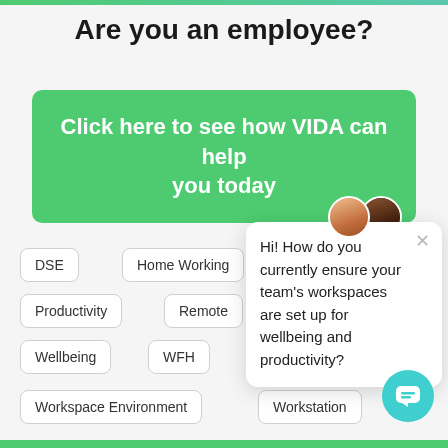Are you an employee?
Click here to see how VIDA can help you today
DSE
Home Working
Productivity
Remote
Wellbeing
WFH
Workspace Environment
Workstation
Hi! How do you currently ensure your team's workspaces are set up for wellbeing and productivity?